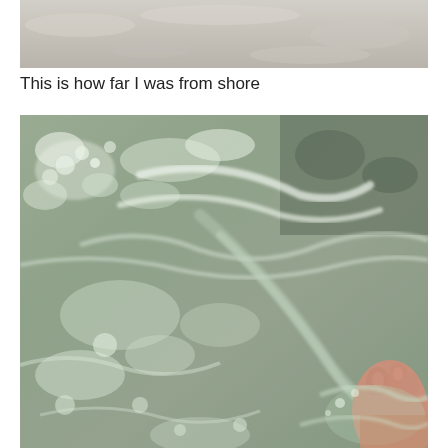[Figure (photo): Top portion of a beach photo showing sandy/water surface, cropped at top of page]
This is how far I was from shore
[Figure (photo): Close-up photo of shallow clear ocean water at the shore with a person's foot/toe visible in the lower right corner, showing the water surface with bubbles and ripples over sandy bottom]